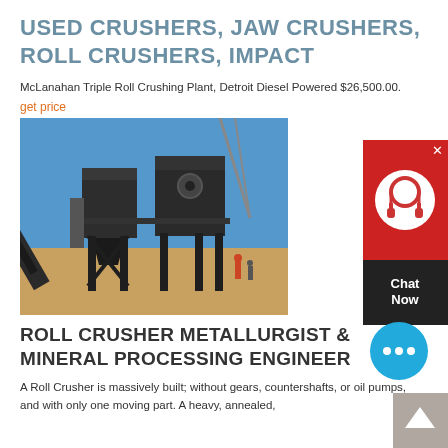USED CRUSHERS, JAW CRUSHERS, ROLL CRUSHERS, IMPACT
McLanahan Triple Roll Crushing Plant, Detroit Diesel Powered $26,500.00.
get price
[Figure (photo): Outdoor industrial roll crushing plant installation with large mechanical crusher structures, a crane in background, workers visible, blue sky]
ROLL CRUSHER METALLURGIST & MINERAL PROCESSING ENGINEER
A Roll Crusher is massively built; without gears, countershafts, or oil pumps, and with only one moving part. A heavy, annealed,